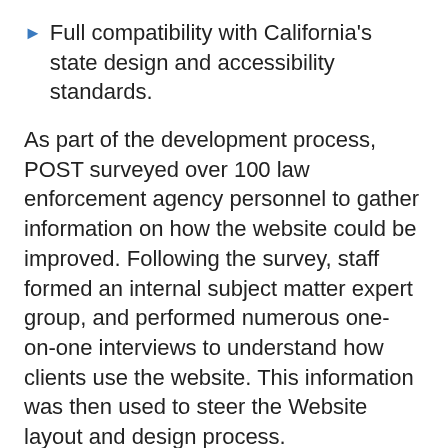Full compatibility with California's state design and accessibility standards.
As part of the development process, POST surveyed over 100 law enforcement agency personnel to gather information on how the website could be improved. Following the survey, staff formed an internal subject matter expert group, and performed numerous one-on-one interviews to understand how clients use the website. This information was then used to steer the Website layout and design process.
General questions regarding the POST Website may be directed to Computer Services Bureau Chief Colin O'Keefe at (916)-227-4804. Technical questions may be directed to Web Content